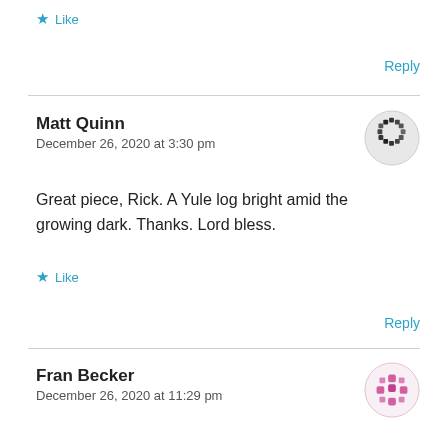Like
Reply
Matt Quinn
December 26, 2020 at 3:30 pm
Great piece, Rick. A Yule log bright amid the growing dark. Thanks. Lord bless.
Like
Reply
Fran Becker
December 26, 2020 at 11:29 pm